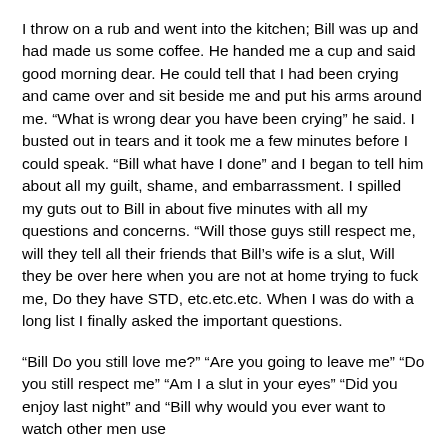I throw on a rub and went into the kitchen; Bill was up and had made us some coffee. He handed me a cup and said good morning dear. He could tell that I had been crying and came over and sit beside me and put his arms around me. “What is wrong dear you have been crying” he said. I busted out in tears and it took me a few minutes before I could speak. “Bill what have I done” and I began to tell him about all my guilt, shame, and embarrassment. I spilled my guts out to Bill in about five minutes with all my questions and concerns. “Will those guys still respect me, will they tell all their friends that Bill’s wife is a slut, Will they be over here when you are not at home trying to fuck me, Do they have STD, etc.etc.etc. When I was do with a long list I finally asked the important questions.
“Bill Do you still love me?” “Are you going to leave me” “Do you still respect me” “Am I a slut in your eyes” “Did you enjoy last night” and “Bill why would you ever want to watch other men use